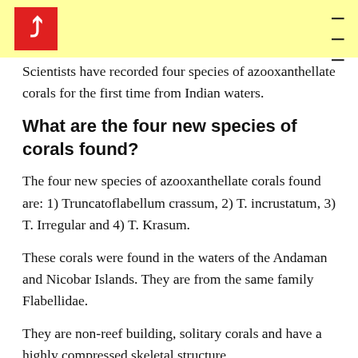Scientists have recorded four species of azooxanthellate corals for the first time from Indian waters.
What are the four new species of corals found?
The four new species of azooxanthellate corals found are: 1) Truncatoflabellum crassum, 2) T. incrustatum, 3) T. Irregular and 4) T. Krasum.
These corals were found in the waters of the Andaman and Nicobar Islands. They are from the same family Flabellidae.
They are non-reef building, solitary corals and have a highly compressed skeletal structure.
Significance: Most studies of hard corals in India have been concentrated on reef-building corals while much is not known about non-reef-building corals. These new species enhance